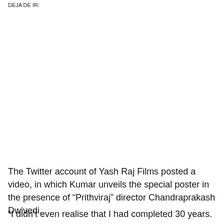DEJA DE IR:
The Twitter account of Yash Raj Films posted a video, in which Kumar unveils the special poster in the presence of “Prithviraj” director Chandraprakash Dwivedi.
“I didn’t even realise that I had completed 30 years.